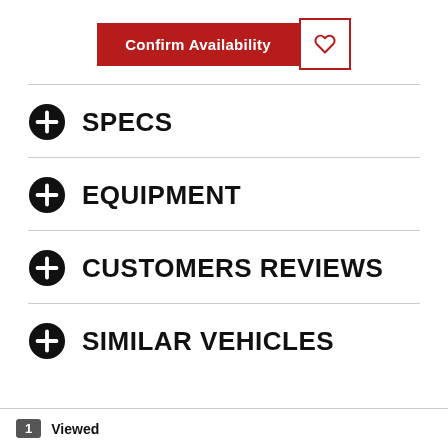[Figure (screenshot): Confirm Availability button (red) with heart/wishlist icon button (white with red border) next to it]
SPECS
EQUIPMENT
CUSTOMERS REVIEWS
SIMILAR VEHICLES
1  Viewed